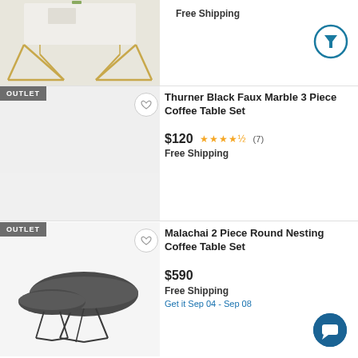[Figure (photo): Partial view of a geometric gold-frame coffee table with white marble top on a cream rug, cropped at top of page]
Free Shipping
[Figure (other): Filter funnel icon in a teal/blue circle]
[Figure (photo): Thurner Black Faux Marble 3 Piece Coffee Table Set product image showing three low rectangular black-framed tables with dark marble tops]
Thurner Black Faux Marble 3 Piece Coffee Table Set
$120
★★★★½ (7)
Free Shipping
[Figure (photo): Malachai 2 Piece Round Nesting Coffee Table Set product image showing two round dark tables with thin metal legs]
Malachai 2 Piece Round Nesting Coffee Table Set
$590
Free Shipping
Get it Sep 04 - Sep 08
[Figure (other): Chat/message icon in a teal circle at bottom right]